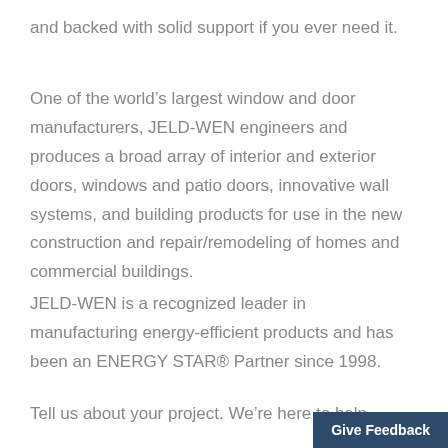and backed with solid support if you ever need it.
One of the world's largest window and door manufacturers, JELD-WEN engineers and produces a broad array of interior and exterior doors, windows and patio doors, innovative wall systems, and building products for use in the new construction and repair/remodeling of homes and commercial buildings.
JELD-WEN is a recognized leader in manufacturing energy-efficient products and has been an ENERGY STAR® Partner since 1998.
Tell us about your project. We're here to help.